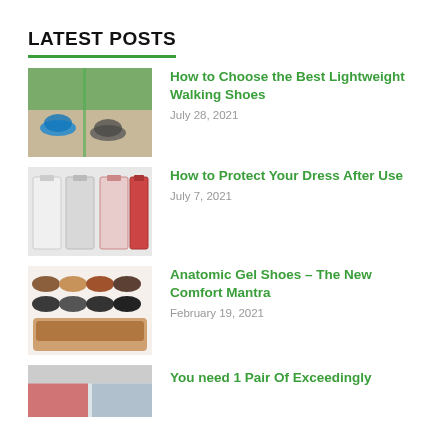LATEST POSTS
How to Choose the Best Lightweight Walking Shoes
July 28, 2021
[Figure (photo): Photo of walking shoes on a path with a green vertical stripe]
How to Protect Your Dress After Use
July 7, 2021
[Figure (photo): Photo of several dress covers/garment bags in white, gray, and red]
Anatomic Gel Shoes – The New Comfort Mantra
February 19, 2021
[Figure (photo): Photo of multiple pairs of anatomic gel shoes arranged in a grid]
You need 1 Pair Of Exceedingly
[Figure (photo): Partial photo showing red and light blue sections]